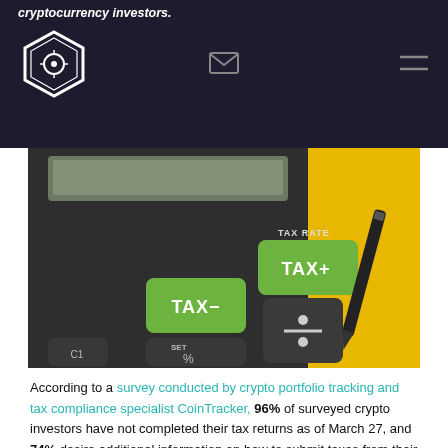cryptocurrency investors.
[Figure (photo): Close-up photo of a dark grey calculator with green TAX- and TAX+ keys labeled TAX RATE, a SET % key and division key, a C1 key, on a yellow background with a pen visible in upper right]
According to a survey conducted by crypto portfolio tracking and tax compliance specialist CoinTracker, 96% of surveyed crypto investors have not completed their tax returns as of March 27, and 74% desire additional information on how to submit taxes from their crypto exchanges.